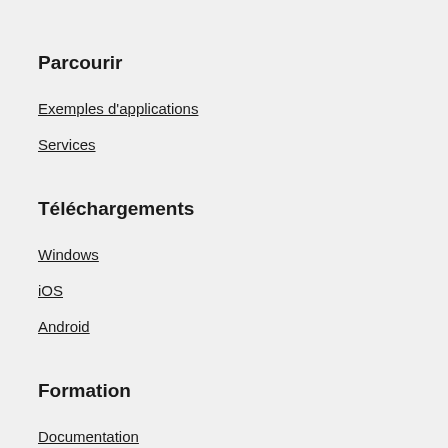Parcourir
Exemples d'applications
Services
Téléchargements
Windows
iOS
Android
Formation
Documentation
Support
Communauté